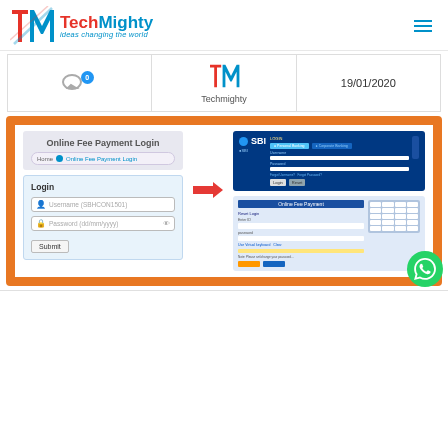[Figure (screenshot): TechMighty website header with logo showing stylized T and M in red and teal, text 'TechMighty ideas changing the world' in teal, and hamburger menu icon on the right]
| Comments | Author | Date |
| --- | --- | --- |
| 0 comments | Techmighty logo | 19/01/2020 |
[Figure (screenshot): Screenshot of SBI Online Fee Payment Login page with login form showing Username (SBHCON1501) and Password (dd/mm/yyyy) fields and Submit button, alongside SBI bank login interface screenshots showing keypad]